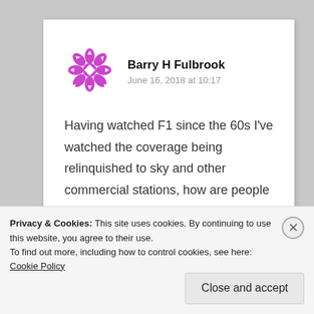[Figure (logo): Purple decorative mandala/snowflake avatar icon for user Barry H Fulbrook]
Barry H Fulbrook
June 16, 2018 at 10:17
Having watched F1 since the 60s I've watched the coverage being relinquished to sky and other commercial stations, how are people like me and all the other pensioners
Privacy & Cookies: This site uses cookies. By continuing to use this website, you agree to their use.
To find out more, including how to control cookies, see here: Cookie Policy
Close and accept